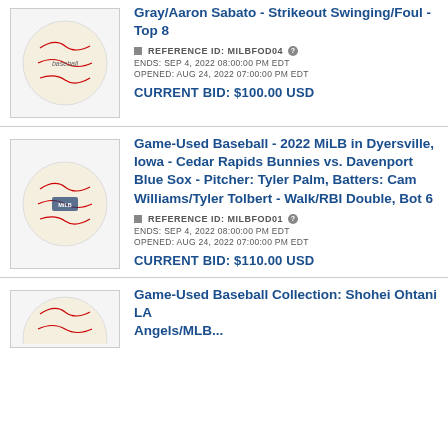[Figure (photo): Game-used baseball photo, top item]
Gray/Aaron Sabato - Strikeout Swinging/Foul - Top 8
REFERENCE ID: MILBFOD04
ENDS: SEP 4, 2022 08:00:00 PM EDT
OPENED: AUG 24, 2022 07:00:00 PM EDT
CURRENT BID: $100.00 USD
[Figure (photo): Game-used baseball photo, middle item]
Game-Used Baseball - 2022 MiLB in Dyersville, Iowa - Cedar Rapids Bunnies vs. Davenport Blue Sox - Pitcher: Tyler Palm, Batters: Cam Williams/Tyler Tolbert - Walk/RBI Double, Bot 6
REFERENCE ID: MILBFOD01
ENDS: SEP 4, 2022 08:00:00 PM EDT
OPENED: AUG 24, 2022 07:00:00 PM EDT
CURRENT BID: $110.00 USD
[Figure (photo): Game-used baseball photo, bottom item (partially visible)]
Game-Used Baseball Collection: Shohei Ohtani LA Angels/MLB...